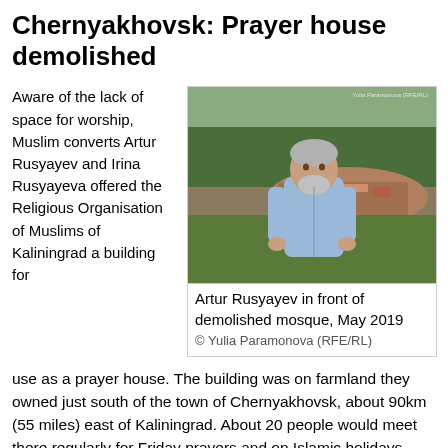Chernyakhovsk: Prayer house demolished
Aware of the lack of space for worship, Muslim converts Artur Rusyayev and Irina Rusyayeva offered the Religious Organisation of Muslims of Kaliningrad a building for
[Figure (photo): Artur Rusyayev standing in front of a demolished mosque, rubble and debris visible behind him, trees in background, May 2019]
Artur Rusyayev in front of demolished mosque, May 2019
© Yulia Paramonova (RFE/RL)
use as a prayer house. The building was on farmland they owned just south of the town of Chernyakhovsk, about 90km (55 miles) east of Kaliningrad. About 20 people would meet there regularly for Friday prayers and on Islamic holidays.